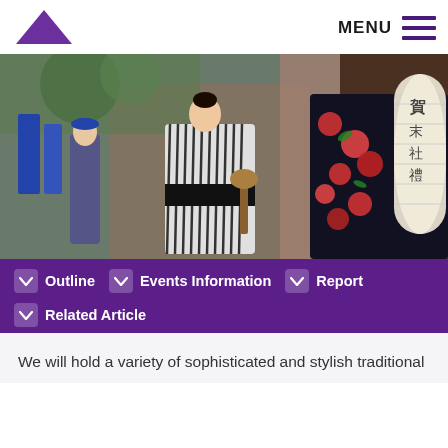[Figure (logo): Arts Council Tokyo logo: purple triangle above text reading ARTS COUNCIL TOKYO]
MENU
[Figure (photo): Street scene in Japan with people in traditional kimono and yukata clothing, a woman in black-and-white striped kimono holding a shamisen, blue festival banners, and a large paper lantern on the right]
Outline
Events Information
Report
Related Article
We will hold a variety of sophisticated and stylish traditional